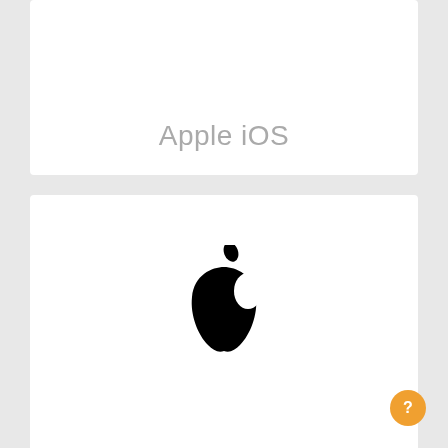Apple iOS
[Figure (logo): Apple logo (black apple silhouette with bite taken out and leaf on top) above the text 'iPhone']
Apple iPhone
[Figure (other): Partially visible card at bottom of page]